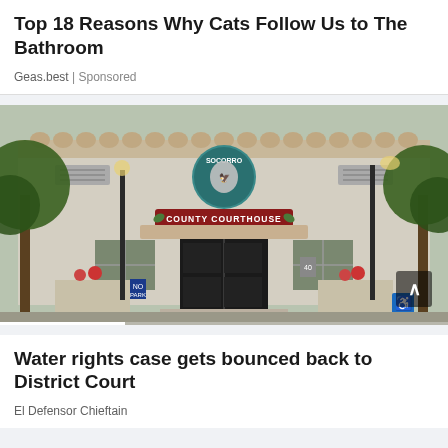Top 18 Reasons Why Cats Follow Us to The Bathroom
Geas.best | Sponsored
[Figure (photo): Exterior photograph of Socorro County Courthouse, a light-colored stucco building with a decorative parapet, green trees on either side, sign reading 'COUNTY COURTHOUSE' with a seal above the entrance doors, lamp posts, and a handicapped parking sign visible at the front.]
Water rights case gets bounced back to District Court
El Defensor Chieftain